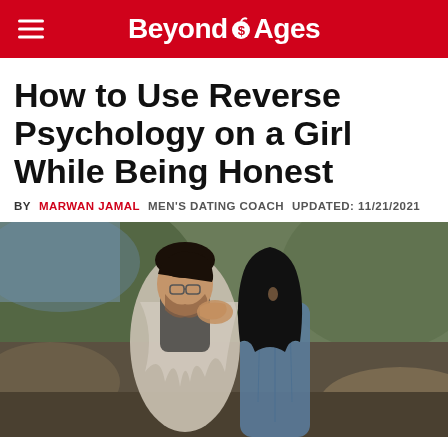BeyondAges
How to Use Reverse Psychology on a Girl While Being Honest
BY MARWAN JAMAL   MEN'S DATING COACH   UPDATED: 11/21/2021
[Figure (photo): A couple about to kiss outdoors. The man has dark hair and glasses, wrapped in a grey blanket. The woman has dark hair and is wearing a denim jacket. Rocky landscape in background.]